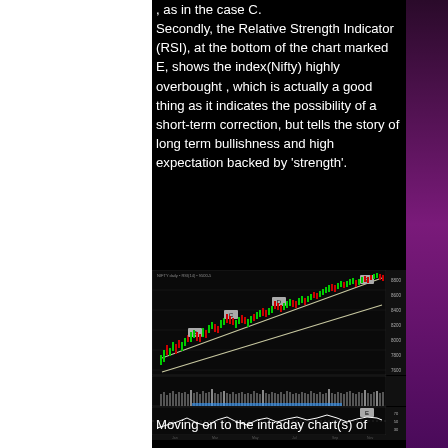, as in the case C. Secondly, the Relative Strength Indicator (RSI), at the bottom of the chart marked E, shows the index(Nifty) highly overbought , which is actually a good thing as it indicates the possibility of a short-term correction, but tells the story of long term bullishness and high expectation backed by 'strength'.
[Figure (continuous-plot): Stock chart showing Nifty index price action in a rising channel with labeled points, volume bars below, and RSI indicator at bottom marked E. Chart shows upward trend with candlesticks, two diagonal channel lines, and multiple labeled points on the channel boundaries.]
Moving on to the intraday chart(s) of